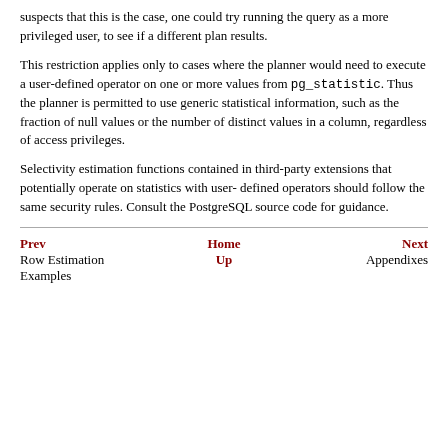suspects that this is the case, one could try running the query as a more privileged user, to see if a different plan results.
This restriction applies only to cases where the planner would need to execute a user-defined operator on one or more values from pg_statistic. Thus the planner is permitted to use generic statistical information, such as the fraction of null values or the number of distinct values in a column, regardless of access privileges.
Selectivity estimation functions contained in third-party extensions that potentially operate on statistics with user-defined operators should follow the same security rules. Consult the PostgreSQL source code for guidance.
Prev  Home  Next  Row Estimation Examples  Up  Appendixes